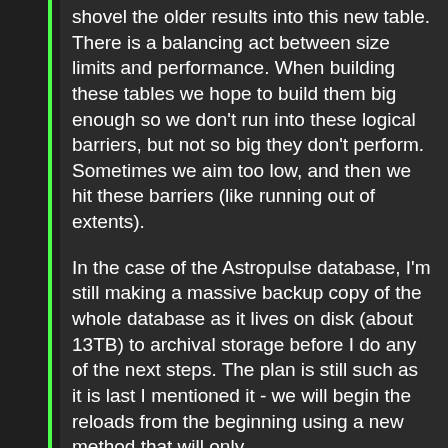shovel the older results into this new table. There is a balancing act between size limits and performance. When building these tables we hope to build them big enough so we don't run into these logical barriers, but not so big they don't perform. Sometimes we aim too low, and then we hit these barriers (like running out of extents).
In the case of the Astropulse database, I'm still making a massive backup copy of the whole database as it lives on disk (about 13TB) to archival storage before I do any of the next steps. The plan is still such as it is last I mentioned it - we will begin the reloads from the beginning using a new method that will only